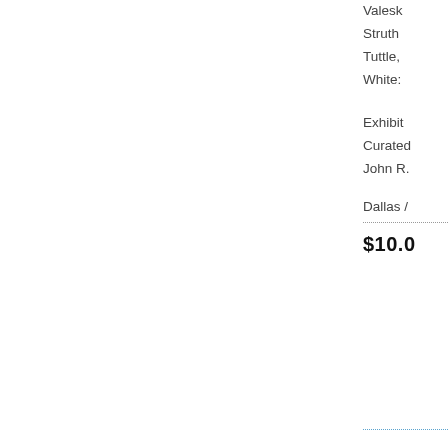Valesk
Struth
Tuttle,
White:
Exhibit
Curated
John R.
Dallas /
$10.0
...........